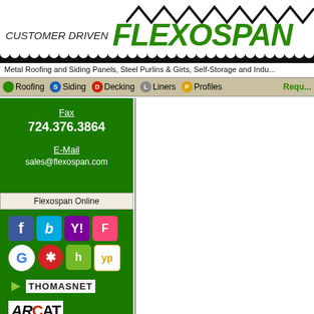CUSTOMER DRIVEN FLEXOSPAN
Metal Roofing and Siding Panels, Steel Purlins & Girts, Self-Storage and Indu...
Roofing  Siding  Decking  Liners  Profiles  Requ...
Fax
724.376.3864
E-Mail
sales@flexospan.com
Flexospan Online
[Figure (logo): Social media and directory icons: Facebook, Bing, Yahoo, Foursquare, Google, Yelp, Houzz, YP, Thomasnet, ARCAT]